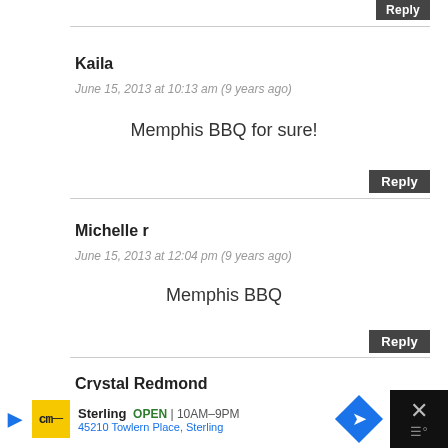Reply
Kaila
June 15, 2013 at 10:13 am (9 years ago)
Memphis BBQ for sure!
Reply
Michelle r
June 15, 2013 at 12:04 pm (9 years ago)
Memphis BBQ
Reply
Crystal Redmond
June 15, 2013 at 12:30 pm (9 years ago)
[Figure (other): Advertisement bar: CM logo, Sterling OPEN 10AM-9PM, 45210 Towlern Place Sterling, navigation arrow icon, close button]